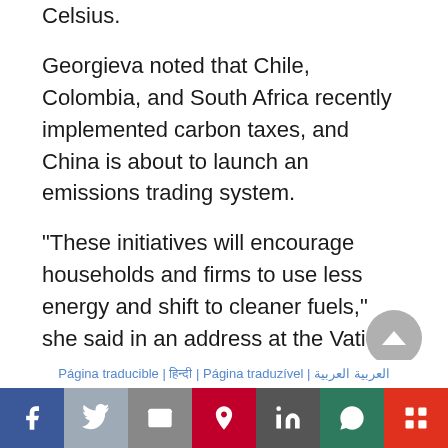Celsius.
Georgieva noted that Chile, Colombia, and South Africa recently implemented carbon taxes, and China is about to launch an emissions trading system.
“These initiatives will encourage households and firms to use less energy and shift to cleaner fuels,” she said in an address at the Vatican City Wednesday.
Many governments are reluctant when it comes to
Página traducible | हिन्दी | Página traduzível | العربية العربية